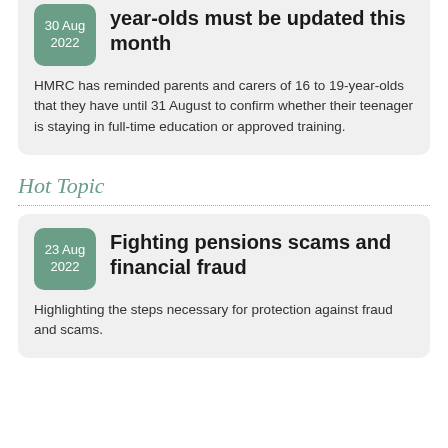year-olds must be updated this month
HMRC has reminded parents and carers of 16 to 19-year-olds that they have until 31 August to confirm whether their teenager is staying in full-time education or approved training.
Hot Topic
Fighting pensions scams and financial fraud
Highlighting the steps necessary for protection against fraud and scams.